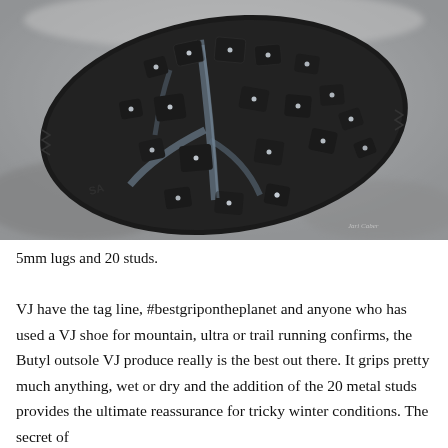[Figure (photo): Close-up macro photograph of the bottom sole of a trail running shoe, showing black rubber with 5mm lugs and 20 metal studs arranged across the textured outsole pattern. A photographer watermark is visible in the lower right corner.]
5mm lugs and 20 studs.
VJ have the tag line, #bestgripontheplanet and anyone who has used a VJ shoe for mountain, ultra or trail running confirms, the Butyl outsole VJ produce really is the best out there. It grips pretty much anything, wet or dry and the addition of the 20 metal studs provides the ultimate reassurance for tricky winter conditions. The secret of